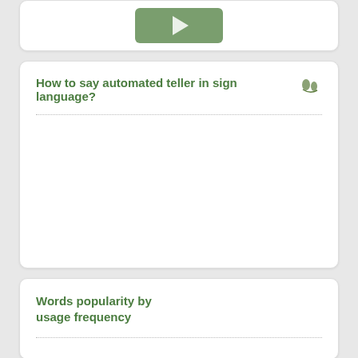[Figure (other): Green play button (video player control) centered in a white card]
How to say automated teller in sign language?
[Figure (illustration): Sign language hand gesture icon]
Words popularity by usage frequency